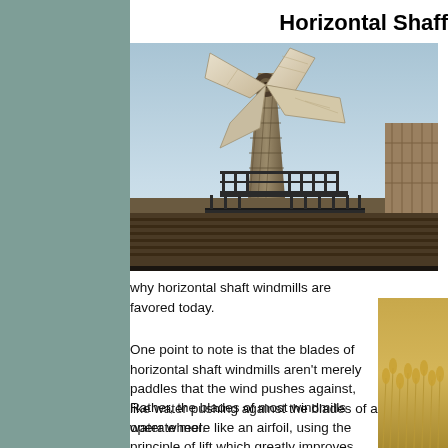Horizontal Shaft
[Figure (photo): Close-up photo of a traditional windmill with large sails/blades against a sky background, with wooden structure and metal railings visible]
why horizontal shaft windmills are favored today.
One point to note is that the blades of horizontal shaft windmills aren't merely paddles that the wind pushes against, like water pushing against the blades of a water wheel.
Rather, the blades of most windmills operate more like an airfoil, using the principle of lift which greatly improves their effectiveness. At it basis, lift is generated w
[Figure (photo): Partial photo showing wheat field or golden grain, cropped at right edge]